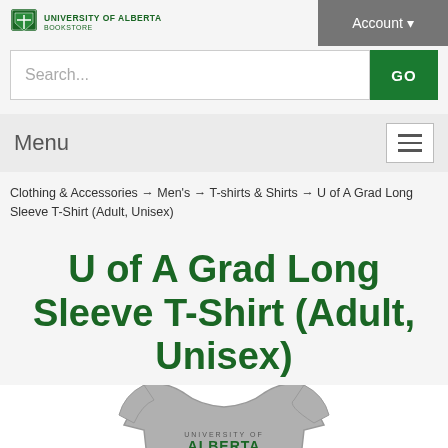Account
[Figure (logo): University of Alberta Bookstore shield logo with text UNIVERSITY OF ALBERTA BOOKSTORE]
Search...
Menu
Clothing & Accessories → Men's → T-shirts & Shirts → U of A Grad Long Sleeve T-Shirt (Adult, Unisex)
U of A Grad Long Sleeve T-Shirt (Adult, Unisex)
[Figure (photo): Grey long sleeve t-shirt with University of Alberta text on chest, partially visible]